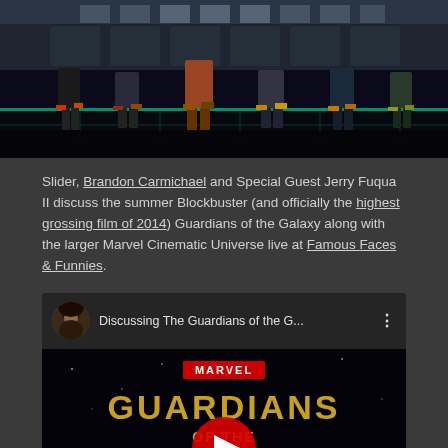[Figure (screenshot): Top portion of a webpage showing silhouettes of characters standing on a glowing grid floor, appears to be from Guardians of the Galaxy]
Slider, Brandon Carmichael and Special Guest Jerry Fuqua II discuss the summer Blockbuster (and officially the highest grossing film of 2014) Guardians of the Galaxy along with the larger Marvel Cinematic Universe live at Famous Faces & Funnies.
[Figure (screenshot): Embedded YouTube video thumbnail for 'Discussing The Guardians of the G...' showing the Guardians of the Galaxy Marvel movie title card with gold lettering on a dark space background and a YouTube play button overlay. Channel avatar shows a person in a hood.]